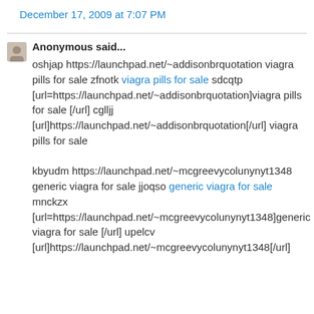December 17, 2009 at 7:07 PM
Anonymous said...
oshjap https://launchpad.net/~addisonbrquotation viagra pills for sale zfnotk viagra pills for sale sdcqtp [url=https://launchpad.net/~addisonbrquotation]viagra pills for sale [/url] cglljj [url]https://launchpad.net/~addisonbrquotation[/url] viagra pills for sale
kbyudm https://launchpad.net/~mcgreevycolunynyt1348 generic viagra for sale jjoqso generic viagra for sale mnckzx [url=https://launchpad.net/~mcgreevycolunynyt1348]generic viagra for sale [/url] upelcv [url]https://launchpad.net/~mcgreevycolunynyt1348[/url] generic viagra for sale